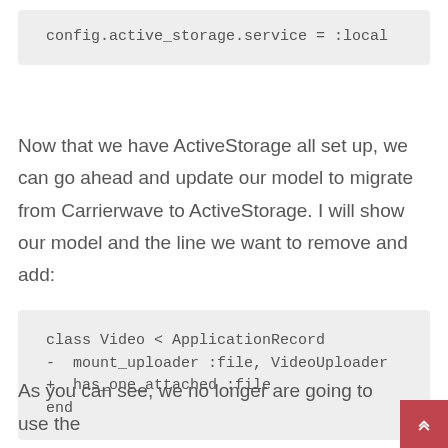Now that we have ActiveStorage all set up, we can go ahead and update our model to migrate from Carrierwave to ActiveStorage. I will show our model and the line we want to remove and add:
As you can see, we no longer are going to use the